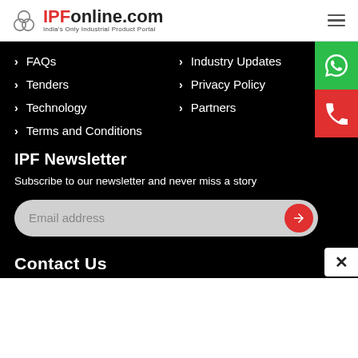[Figure (logo): IPFonline.com logo with trefoil icon and tagline 'India's Only Industrial Product Portal']
> FAQs
> Industry Updates
> Tenders
> Privacy Policy
> Technology
> Partners
> Terms and Conditions
IPF Newsletter
Subscribe to our newsletter and never miss a story
Email address
Contact Us